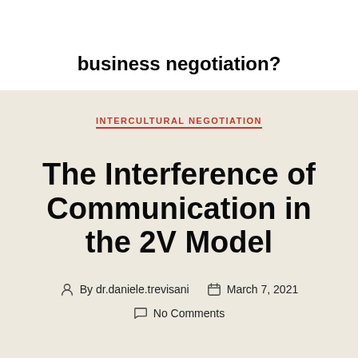cultural problems in international business negotiation?
INTERCULTURAL NEGOTIATION
The Interference of Communication in the 2V Model
By dr.daniele.trevisani   March 7, 2021   No Comments